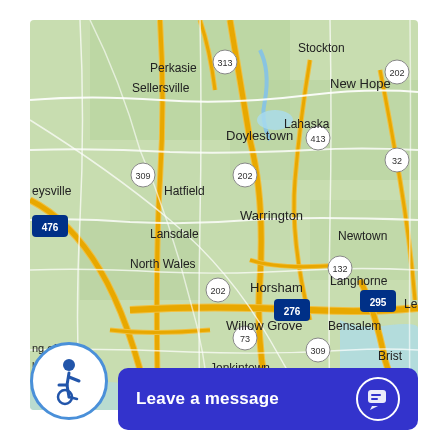[Figure (map): Google Maps view of southeastern Pennsylvania including towns such as Perkasie, Sellersville, Doylestown, Warrington, Horsham, Willow Grove, Lansdale, North Wales, Hatfield, Newtown, Langhorne, Bensalem, Conshohocken, Jenkintown, Stockton, New Hope, Lahaska, and road numbers 476, 309, 313, 202, 413, 32, 202, 132, 276, 295, 309, 73, 23.]
[Figure (logo): Accessibility icon: circular blue-bordered badge with wheelchair user symbol in blue and white.]
Leave a message